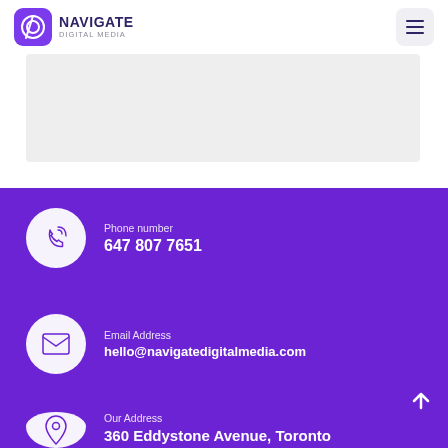Navigate Digital Media
[Figure (logo): Navigate Digital Media logo with purple rounded square icon and text]
Phone number
647 807 7651
Email Address
hello@navigatedigitalmedia.com
Our Address
360 Eddystone Avenue, Toronto